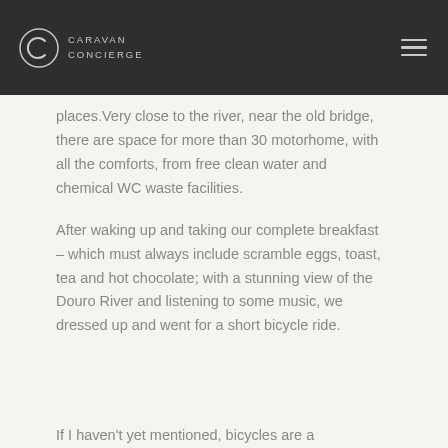CARAVAN CONCIERGE
places.Very close to the river, near the old bridge, there are space for more than 30 motorhome, with all the comforts, from free clean water and chemical WC waste facilities.
After waking up and taking our complete breakfast – which must always include scramble eggs, toast, tea and hot chocolate; with a stunning view of the Douro River and listening to some music, we dressed up and went for a short bicycle ride.
If I haven't yet mentioned, bicycles are a